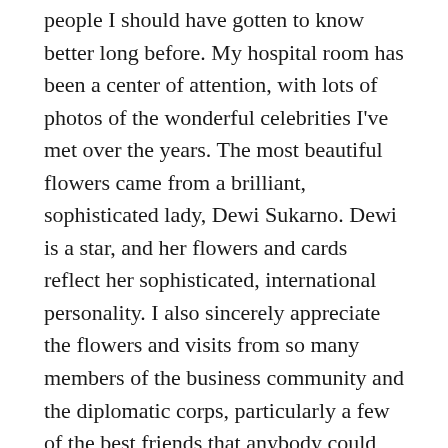people I should have gotten to know better long before. My hospital room has been a center of attention, with lots of photos of the wonderful celebrities I've met over the years. The most beautiful flowers came from a brilliant, sophisticated lady, Dewi Sukarno. Dewi is a star, and her flowers and cards reflect her sophisticated, international personality. I also sincerely appreciate the flowers and visits from so many members of the business community and the diplomatic corps, particularly a few of the best friends that anybody could have: the Ireton family